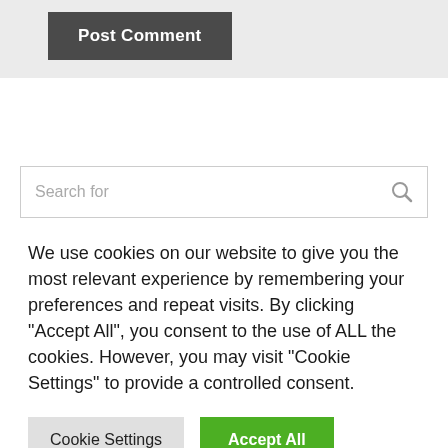[Figure (screenshot): Post Comment button — dark gray button with white bold text reading 'Post Comment' on a light gray background]
[Figure (screenshot): Search box with placeholder text 'Search for' and a search icon on the right, white background with border]
We use cookies on our website to give you the most relevant experience by remembering your preferences and repeat visits. By clicking "Accept All", you consent to the use of ALL the cookies. However, you may visit "Cookie Settings" to provide a controlled consent.
[Figure (screenshot): Two buttons: 'Cookie Settings' in light gray and 'Accept All' in green]